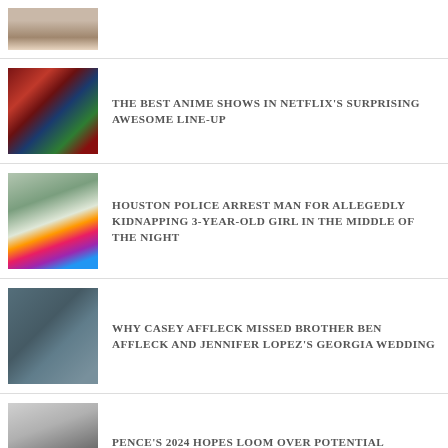[Figure (photo): Partial view of a person's face, cropped at the top of the page]
[Figure (photo): Colorful anime character illustration with red and green colors]
THE BEST ANIME SHOWS IN NETFLIX'S SURPRISING AWESOME LINE-UP
[Figure (photo): Young girl in a rainbow dress standing near a white horse outdoors]
HOUSTON POLICE ARREST MAN FOR ALLEGEDLY KIDNAPPING 3-YEAR-OLD GIRL IN THE MIDDLE OF THE NIGHT
[Figure (photo): Man in a gray hoodie talking on a phone outdoors]
WHY CASEY AFFLECK MISSED BROTHER BEN AFFLECK AND JENNIFER LOPEZ'S GEORGIA WEDDING
[Figure (photo): Older man with white hair looking concerned]
PENCE'S 2024 HOPES LOOM OVER POTENTIAL TESTIMONY TO JAN. 6 COMMITTEE